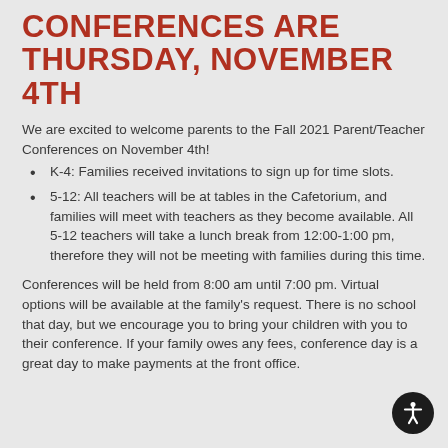CONFERENCES ARE THURSDAY, NOVEMBER 4TH
We are excited to welcome parents to the Fall 2021 Parent/Teacher Conferences on November 4th!
K-4: Families received invitations to sign up for time slots.
5-12: All teachers will be at tables in the Cafetorium, and families will meet with teachers as they become available. All 5-12 teachers will take a lunch break from 12:00-1:00 pm, therefore they will not be meeting with families during this time.
Conferences will be held from 8:00 am until 7:00 pm. Virtual options will be available at the family's request. There is no school that day, but we encourage you to bring your children with you to their conference. If your family owes any fees, conference day is a great day to make payments at the front office.